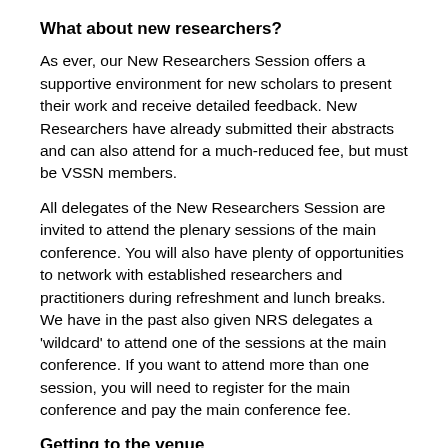What about new researchers?
As ever, our New Researchers Session offers a supportive environment for new scholars to present their work and receive detailed feedback. New Researchers have already submitted their abstracts and can also attend for a much-reduced fee, but must be VSSN members.
All delegates of the New Researchers Session are invited to attend the plenary sessions of the main conference. You will also have plenty of opportunities to network with established researchers and practitioners during refreshment and lunch breaks. We have in the past also given NRS delegates a 'wildcard' to attend one of the sessions at the main conference. If you want to attend more than one session, you will need to register for the main conference and pay the main conference fee.
Getting to the venue
Located in the heart of the UK, Sheffield is one of England's largest cities, with excellent road, rail and air networks. City Campus is approximately ten minutes from junction 33 of the M1, a two-minute walk from Sheffield's